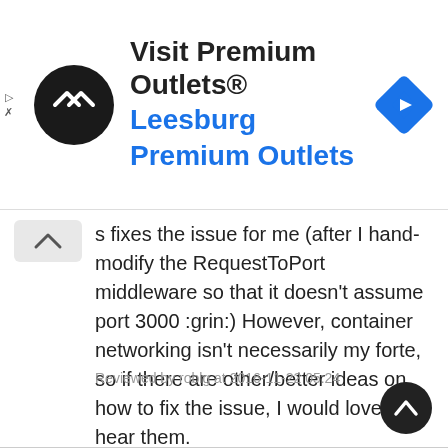[Figure (other): Advertisement banner for Visit Premium Outlets® - Leesburg Premium Outlets, with a black circular logo with double arrows, navigation diamond icon, and close/skip ad controls]
s fixes the issue for me (after I hand-modify the RequestToPort middleware so that it doesn't assume port 3000 :grin:) However, container networking isn't necessarily my forte, so if there are other/better ideas on how to fix the issue, I would love to hear them.
Reviewed by roblg at 2016-11-22 05:24